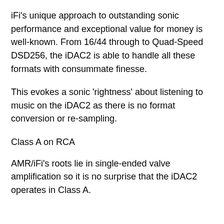iFi's unique approach to outstanding sonic performance and exceptional value for money is well-known. From 16/44 through to Quad-Speed DSD256, the iDAC2 is able to handle all these formats with consummate finesse.
This evokes a sonic 'rightness' about listening to music on the iDAC2 as there is no format conversion or re-sampling.
Class A on RCA
AMR/iFi's roots lie in single-ended valve amplification so it is no surprise that the iDAC2 operates in Class A.